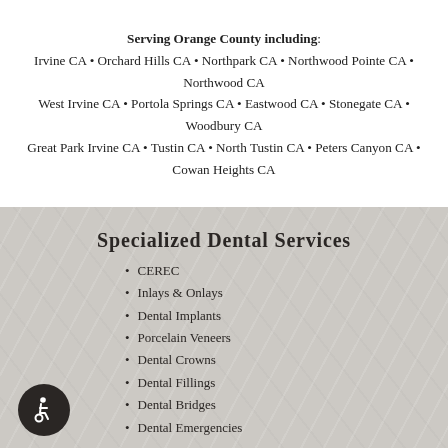Serving Orange County including: Irvine CA • Orchard Hills CA • Northpark CA • Northwood Pointe CA • Northwood CA West Irvine CA • Portola Springs CA • Eastwood CA • Stonegate CA • Woodbury CA Great Park Irvine CA • Tustin CA • North Tustin CA • Peters Canyon CA • Cowan Heights CA
Specialized Dental Services
CEREC
Inlays & Onlays
Dental Implants
Porcelain Veneers
Dental Crowns
Dental Fillings
Dental Bridges
Dental Emergencies